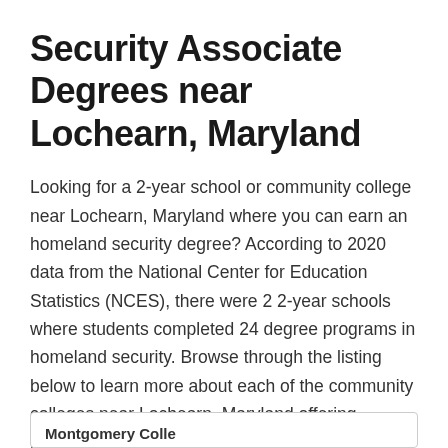Security Associate Degrees near Lochearn, Maryland
Looking for a 2-year school or community college near Lochearn, Maryland where you can earn an homeland security degree? According to 2020 data from the National Center for Education Statistics (NCES), there were 2 2-year schools where students completed 24 degree programs in homeland security. Browse through the listing below to learn more about each of the community colleges near Lochearn, Maryland offering homeland security associate degrees and courses. Tuition shown reflects in-state rates.
Montgomery College